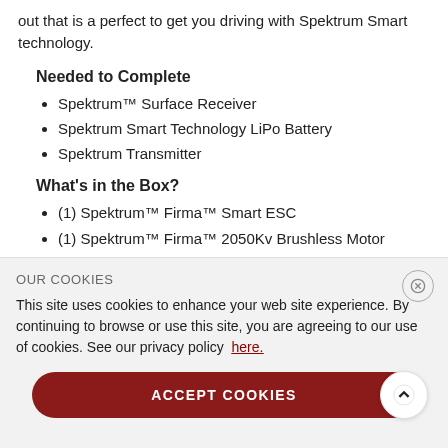out that is a perfect to get you driving with Spektrum Smart technology.
Needed to Complete
Spektrum™ Surface Receiver
Spektrum Smart Technology LiPo Battery
Spektrum Transmitter
What's in the Box?
(1) Spektrum™ Firma™ Smart ESC
(1) Spektrum™ Firma™ 2050Kv Brushless Motor
(1) Spektrum Smart sticker sheet
(1) Product Manual
Video Overview
OUR COOKIES
This site uses cookies to enhance your web site experience. By continuing to browse or use this site, you are agreeing to our use of cookies. See our privacy policy here.
ACCEPT COOKIES